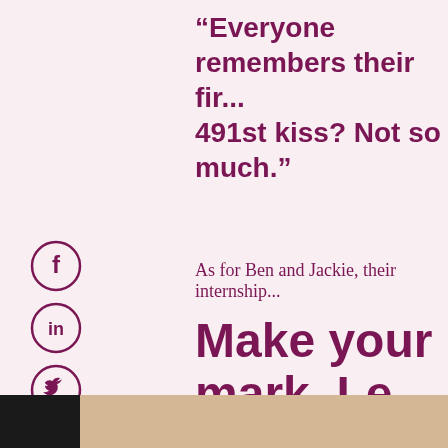“Everyone remembers their fir... 491st kiss? Not so much.”
As for Ben and Jackie, their internship...
[Figure (illustration): Three social media icons (Facebook, LinkedIn, Twitter) as dark purple circles with white symbols]
Make your mark. Le... something new. Ap...